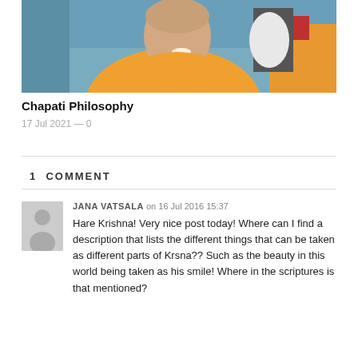[Figure (photo): Photo of a man in an orange/saffron robe smiling, with other people in the background]
Chapati Philosophy
17 Jul 2021  —  0
1  COMMENT
JANA VATSALA on 16 Jul 2016 15:37

Hare Krishna! Very nice post today! Where can I find a description that lists the different things that can be taken as different parts of Krsna?? Such as the beauty in this world being taken as his smile! Where in the scriptures is that mentioned?